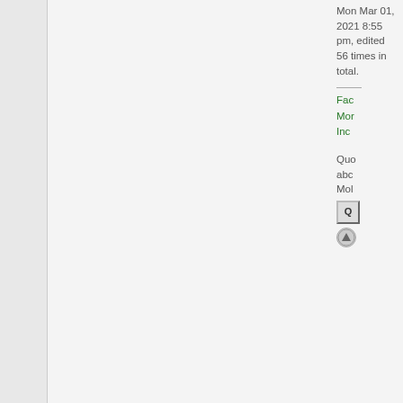Mon Mar 01, 2021 8:55 pm, edited 56 times in total.
Fac Mor Inc
Quo abc Mol
[Figure (screenshot): Quote button icon]
[Figure (screenshot): Scroll up arrow button]
[Figure (illustration): EX-NATION avatar placeholder with diagonal grey stripes]
Sebastianalandia
Minister
Posts: 2100
[Figure (screenshot): QUOTE button with quotation marks]
Re: Montana Incorpe
by Sebastianalandia »